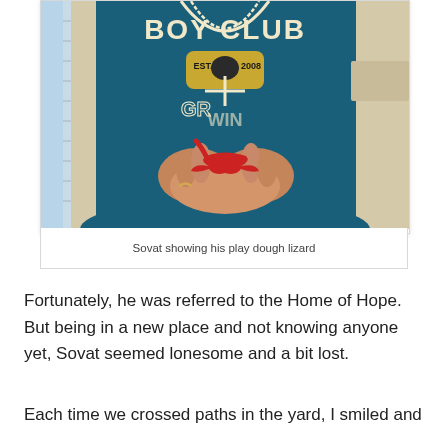[Figure (photo): Person wearing a teal 'Boy Club Est. 2008' sweatshirt and a beaded necklace, holding a small red play dough lizard in their cupped hands. A ruler/measuring tape is visible on the left side of the image.]
Sovat showing his play dough lizard
Fortunately, he was referred to the Home of Hope. But being in a new place and not knowing anyone yet, Sovat seemed lonesome and a bit lost.
Each time we crossed paths in the yard, I smiled and